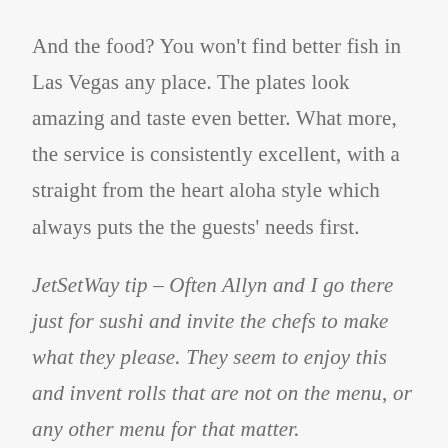And the food? You won't find better fish in Las Vegas any place. The plates look amazing and taste even better. What more, the service is consistently excellent, with a straight from the heart aloha style which always puts the the guests' needs first.
JetSetWay tip – Often Allyn and I go there just for sushi and invite the chefs to make what they please. They seem to enjoy this and invent rolls that are not on the menu, or any other menu for that matter.
Visit them online at RoysRestaurant.com.